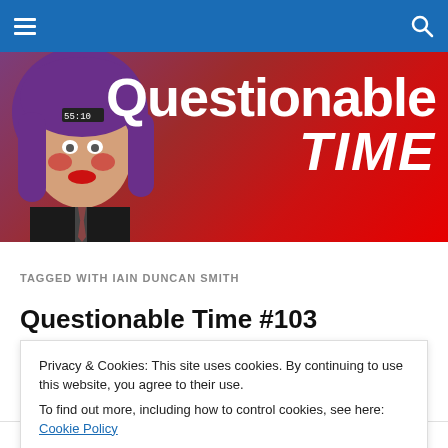Navigation bar with hamburger menu and search icon
[Figure (illustration): Questionable Time blog banner: a man with purple wig and clown makeup on a red-to-purple gradient background, with 'Questionable TIME' text in white bold letters]
TAGGED WITH IAIN DUNCAN SMITH
Questionable Time #103
Privacy & Cookies: This site uses cookies. By continuing to use this website, you agree to their use.
To find out more, including how to control cookies, see here: Cookie Policy
Close and accept